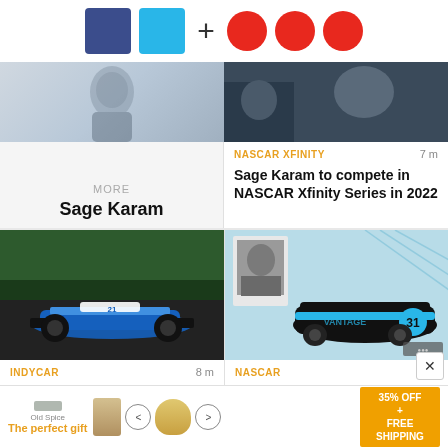[Figure (logo): Two colored squares (dark blue and light blue) plus three red circles forming a logo/brand mark]
[Figure (photo): Partially visible racing driver photo, cropped at top]
MORE
Sage Karam
[Figure (photo): Racing driver/pit crew photo, cropped, dark background]
NASCAR XFINITY
7 m
Sage Karam to compete in NASCAR Xfinity Series in 2022
[Figure (photo): IndyCar blue racing car on track, number 21]
INDYCAR
8 m
Karam, Ferrucci join Dreyer & Reinbold for 2022's Indy 500
[Figure (photo): NASCAR car number 31 in black and cyan livery with vintage branding, driver photo in upper left corner]
NASCAR
1 y
Karam to make NASCAR debut in Xfinity Series race at IMS
[Figure (infographic): Advertisement banner: The perfect gift, with food bowl image, navigation arrows, and 35% OFF + FREE SHIPPING offer box]